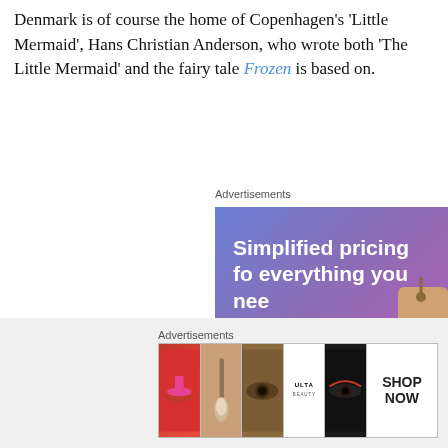Denmark is of course the home of Copenhagen's 'Little Mermaid', Hans Christian Anderson, who wrote both 'The Little Mermaid' and the fairy tale Frozen is based on.
Advertisements
[Figure (screenshot): WordPress.com advertisement banner with gradient purple/blue background. Text reads 'Simplified pricing for everything you need' with a pink 'Build Your Website' button, a price tag graphic on the right, and WordPress.com logo at the bottom.]
Advertisements
[Figure (screenshot): Ulta Beauty advertisement banner showing a series of beauty/makeup images including lips, makeup brush, eyes, Ulta Beauty logo, dramatic eye makeup, and a 'SHOP NOW' cell on the right.]